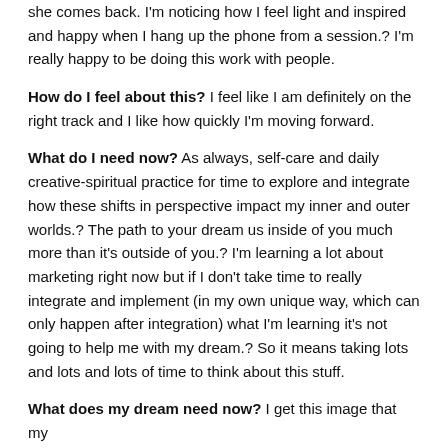she comes back. I'm noticing how I feel light and inspired and happy when I hang up the phone from a session.? I'm really happy to be doing this work with people.
How do I feel about this? I feel like I am definitely on the right track and I like how quickly I'm moving forward.
What do I need now? As always, self-care and daily creative-spiritual practice for time to explore and integrate how these shifts in perspective impact my inner and outer worlds.? The path to your dream us inside of you much more than it's outside of you.? I'm learning a lot about marketing right now but if I don't take time to really integrate and implement (in my own unique way, which can only happen after integration) what I'm learning it's not going to help me with my dream.? So it means taking lots and lots and lots of time to think about this stuff.
What does my dream need now? I get this image that my